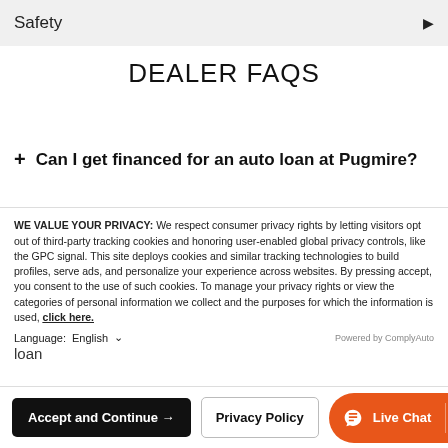Safety
DEALER FAQS
+ Can I get financed for an auto loan at Pugmire?
Getting financed with us is fast and fun. Whether you've always enjoyed a sterling credit history, are currently working on improving your credit score even more, or this is your first time buying a car, you can count on the friendly experts at Pugmire to make the whole process transparent and easy to understand. To learn more and get the ball rolling on the right loan
WE VALUE YOUR PRIVACY: We respect consumer privacy rights by letting visitors opt out of third-party tracking cookies and honoring user-enabled global privacy controls, like the GPC signal. This site deploys cookies and similar tracking technologies to build profiles, serve ads, and personalize your experience across websites. By pressing accept, you consent to the use of such cookies. To manage your privacy rights or view the categories of personal information we collect and the purposes for which the information is used, click here.
Language:  English
Accept and Continue →  Privacy Policy  Live Chat